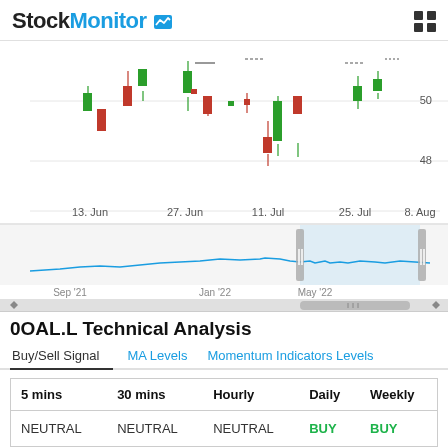StockMonitor
[Figure (continuous-plot): Candlestick stock chart showing price data from approximately Sep 2021 to Aug 2022, with green and red candles. Price range around 48-50. Bottom shows a minimap/navigator with a line chart spanning Sep 21 to May 22+. X-axis labels: 13. Jun, 27. Jun, 11. Jul, 25. Jul, 8. Aug. Y-axis labels: 50, 48.]
0OAL.L Technical Analysis
Buy/Sell Signal | MA Levels | Momentum Indicators Levels
| 5 mins | 30 mins | Hourly | Daily | Weekly |
| --- | --- | --- | --- | --- |
| NEUTRAL | NEUTRAL | NEUTRAL | BUY | BUY |